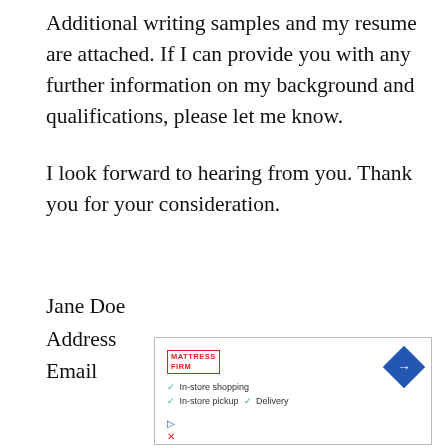Additional writing samples and my resume are attached. If I can provide you with any further information on my background and qualifications, please let me know.
I look forward to hearing from you. Thank you for your consideration.
Jane Doe
Address
Email
[Figure (other): Advertisement for Mattress Firm showing in-store shopping, in-store pickup, and delivery options with a blue direction arrow icon]